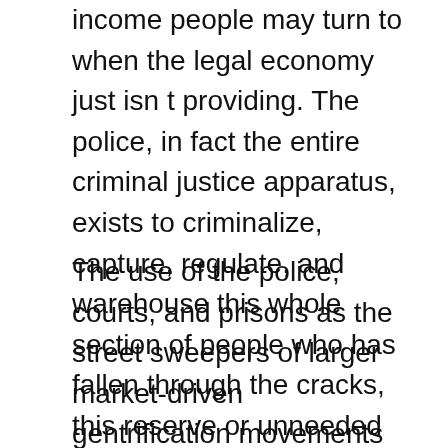income people may turn to when the legal economy just isn t providing. The police, in fact the entire criminal justice apparatus, exists to criminalize, capture, regulate, and warehouse this whole section of people who has fallen through the cracks, this reserve or unneeded or problematic army of the proletariat. To take them out of the picture, to remove them from the rest of the population, to strew and involve their entire lives with the criminal-industrial complex, is the punishment they get for being poor.
The use of the police, courts, and prisons as the street sweepers of larger market-driven gentrification movements for economic cleansing are nothing new. In fact, in a larger sense you could say that is what the police, prisons, etc. are for. They are the ruling classes army to break the back of the poor class, and to keep it broken. To prevent it, even, from seeking medical attention. We need harm-reduction.